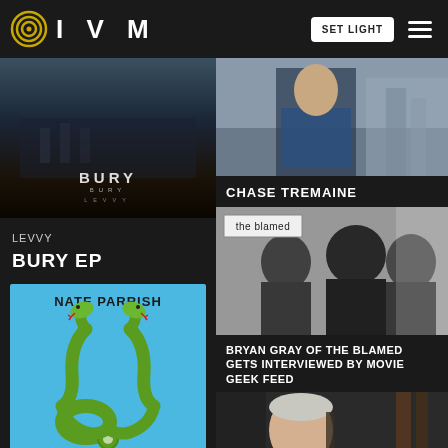IVM — SET LIGHT (header navigation)
[Figure (photo): Dark moody album cover for BURY EP by Levvy — dark atmospheric background with BURY text and LEVVY subtitle]
LEVVY
BURY EP
[Figure (illustration): Nate Parrish album art — two green snakes forming a stethoscope shape on bright blue background, text NATE PARRISH at top]
[Figure (photo): Chase Tremaine portrait photo — person in blue plaid shirt outdoors]
CHASE TREMAINE
[Figure (photo): Black and white photo of The Blamed band members, with 'the blamed' sign text overlay]
BRYAN GRAY OF THE BLAMED GETS INTERVIEWED BY MOVIE GEEK FEED
[Figure (photo): Portrait of a young man near musical equipment, partial view]